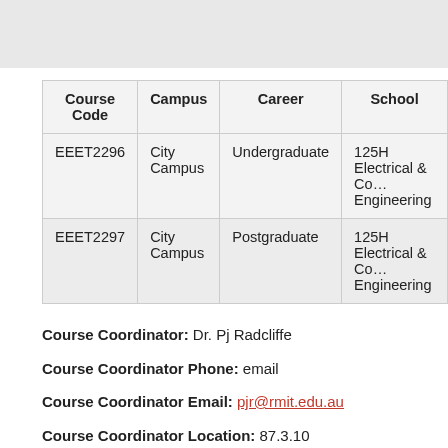| Course Code | Campus | Career | School |
| --- | --- | --- | --- |
| EEET2296 | City Campus | Undergraduate | 125H Electrical & Computer Engineering |
| EEET2297 | City Campus | Postgraduate | 125H Electrical & Computer Engineering |
Course Coordinator: Dr. Pj Radcliffe
Course Coordinator Phone: email
Course Coordinator Email: pjr@rmit.edu.au
Course Coordinator Location: 87.3.10